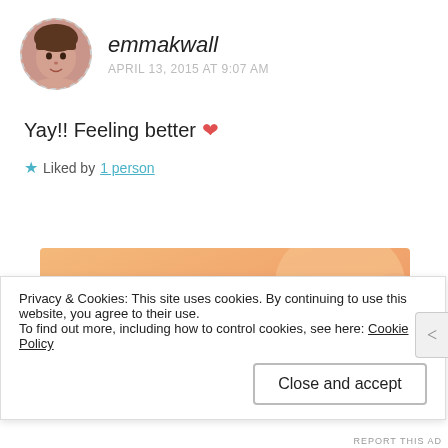[Figure (photo): Circular avatar photo of a woman with bangs, framed by a dashed circle border]
emmakwall
APRIL 13, 2015 AT 9:07 AM
Yay!! Feeling better ❤
★ Liked by 1 person
[Figure (screenshot): Advertisement banner with orange/peach gradient background and text: WordPress in the back.]
Privacy & Cookies: This site uses cookies. By continuing to use this website, you agree to their use.
To find out more, including how to control cookies, see here: Cookie Policy
Close and accept